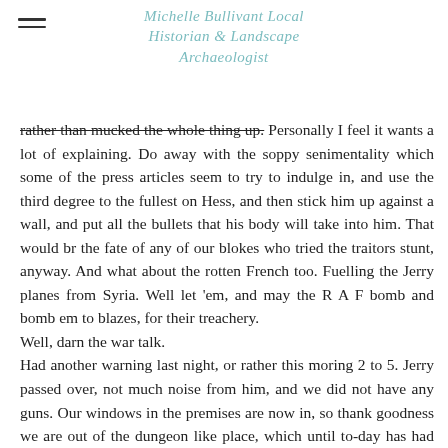Michelle Bullivant Local Historian & Landscape Archaeologist
rather than mucked the whole thing up. Personally I feel it wants a lot of explaining. Do away with the soppy senimentality which some of the press articles seem to try to indulge in, and use the third degree to the fullest on Hess, and then stick him up against a wall, and put all the bullets that his body will take into him. That would br the fate of any of our blokes who tried the traitors stunt, anyway. And what about the rotten French too. Fuelling the Jerry planes from Syria. Well let 'em, and may the R A F bomb and bomb em to blazes, for their treachery.
Well, darn the war talk.
Had another warning last night, or rather this moring 2 to 5. Jerry passed over, not much noise from him, and we did not have any guns. Our windows in the premises are now in, so thank goodness we are out of the dungeon like place, which until to-day has had thick wooden shutters up. Well, its wind up official in our house now. Mrs Wilde had all her case packed with clothes and valuables. deeds of the house, probate, etc. etc.